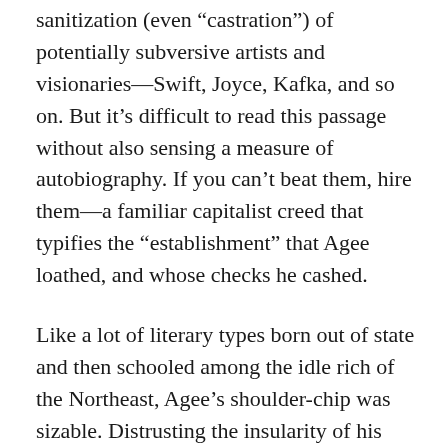sanitization (even “castration”) of potentially subversive artists and visionaries—Swift, Joyce, Kafka, and so on. But it’s difficult to read this passage without also sensing a measure of autobiography. If you can’t beat them, hire them—a familiar capitalist creed that typifies the “establishment” that Agee loathed, and whose checks he cashed.
Like a lot of literary types born out of state and then schooled among the idle rich of the Northeast, Agee’s shoulder-chip was sizable. Distrusting the insularity of his aristocratic classmates, Agee was primed to despise the insularity of the New York literary world into which Luce’s lucre ushered him. In a short personal testimonial appended to the 1960 reissue of